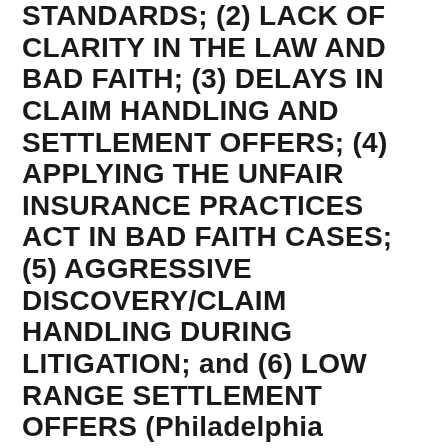STANDARDS; (2) LACK OF CLARITY IN THE LAW AND BAD FAITH; (3) DELAYS IN CLAIM HANDLING AND SETTLEMENT OFFERS; (4) APPLYING THE UNFAIR INSURANCE PRACTICES ACT IN BAD FAITH CASES; (5) AGGRESSIVE DISCOVERY/CLAIM HANDLING DURING LITIGATION; and (6) LOW RANGE SETTLEMENT OFFERS (Philadelphia Federal)
[Figure (other): Print button with printer icon]
Eastern District Judge Tucker explains the similarities and differences between common law and statutory bad faith, in granting the insurer summary judgment on the statutory bad faith claim, but rejecting dismissal of the